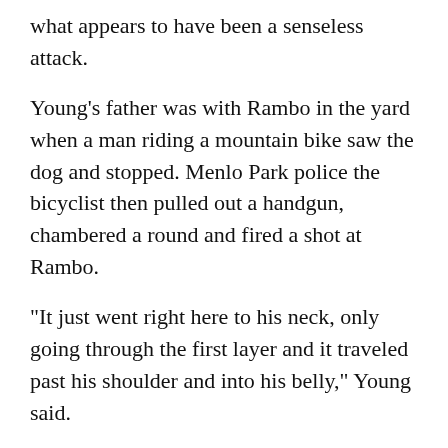what appears to have been a senseless attack.
Young's father was with Rambo in the yard when a man riding a mountain bike saw the dog and stopped. Menlo Park police the bicyclist then pulled out a handgun, chambered a round and fired a shot at Rambo.
"It just went right here to his neck, only going through the first layer and it traveled past his shoulder and into his belly," Young said.
Young is raising money to pay for surgery to remove the bullet.
"It's still inside, but it's not harming him or anything," he said.
You...